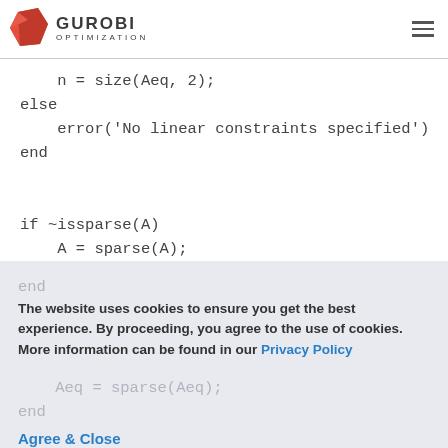GUROBI OPTIMIZATION
n = size(Aeq, 2);
else
    error('No linear constraints specified')
end


if ~issparse(A)
    A = sparse(A);
    end
The website uses cookies to ensure you get the best experience. By proceeding, you agree to the use of cookies. More information can be found in our Privacy Policy
Aeq = sparse(Aeq);
end
Agree & Close